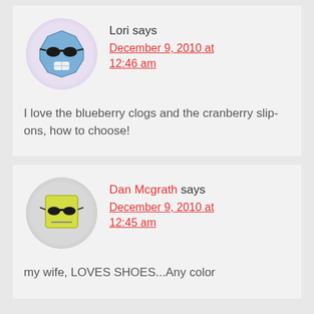[Figure (illustration): Avatar icon: blue octagon face with sunglasses and bandage, inside a purple-tinted circle]
Lori says
December 9, 2010 at 12:46 am
I love the blueberry clogs and the cranberry slip-ons, how to choose!
[Figure (illustration): Avatar icon: yellow square face with sunglasses, inside a gray circle]
Dan Mcgrath says
December 9, 2010 at 12:45 am
my wife, LOVES SHOES...Any color